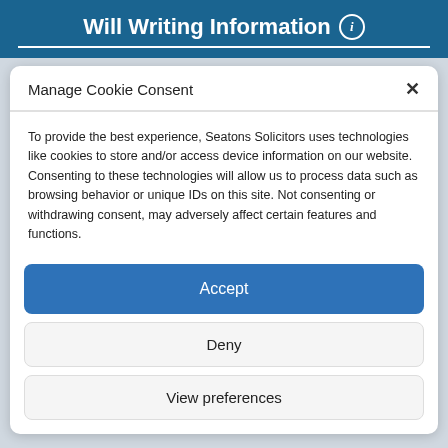Will Writing Information
Manage Cookie Consent
To provide the best experience, Seatons Solicitors uses technologies like cookies to store and/or access device information on our website. Consenting to these technologies will allow us to process data such as browsing behavior or unique IDs on this site. Not consenting or withdrawing consent, may adversely affect certain features and functions.
Accept
Deny
View preferences